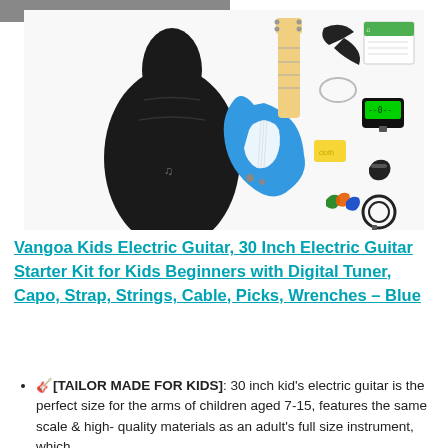[Figure (photo): Product photo of Vangoa Kids Electric Guitar starter kit showing a blue electric guitar with gig bag, digital tuner, capo, strap, strings, cable, picks, and wrenches.]
Vangoa Kids Electric Guitar, 30 Inch Electric Guitar Starter Kit for Kids Beginners with Digital Tuner, Capo, Strap, Strings, Cable, Picks, Wrenches – Blue
🎸[TAILOR MADE FOR KIDS]: 30 inch kid's electric guitar is the perfect size for the arms of children aged 7-15, features the same scale & high- quality materials as an adult's full size instrument, which